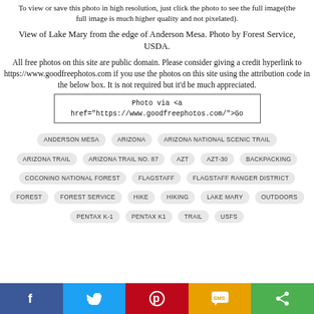To view or save this photo in high resolution, just click the photo to see the full image(the full image is much higher quality and not pixelated).
View of Lake Mary from the edge of Anderson Mesa. Photo by Forest Service, USDA.
All free photos on this site are public domain. Please consider giving a credit hyperlink to https://www.goodfreephotos.com if you use the photos on this site using the attribution code in the below box. It is not required but it'd be much appreciated.
Photo via <a href="https://www.goodfreephotos.com/">Go
ANDERSON MESA
ARIZONA
ARIZONA NATIONAL SCENIC TRAIL
ARIZONA TRAIL
ARIZONA TRAIL NO. 87
AZT
AZT-30
BACKPACKING
COCONINO NATIONAL FOREST
FLAGSTAFF
FLAGSTAFF RANGER DISTRICT
FOREST
FOREST SERVICE
HIKE
HIKING
LAKE MARY
OUTDOORS
PENTAX K-1
PENTAX K1
TRAIL
USFS
Facebook | Twitter | Pinterest | SMS | Share